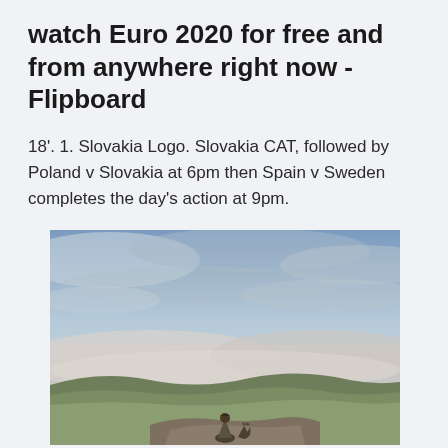watch Euro 2020 for free and from anywhere right now - Flipboard
18'. 1. Slovakia Logo. Slovakia CAT, followed by Poland v Slovakia at 6pm then Spain v Sweden completes the day's action at 9pm.
[Figure (photo): A person sitting on a rocky outcrop with a cat, overlooking a misty mountainous landscape under a dramatic cloudy sky.]